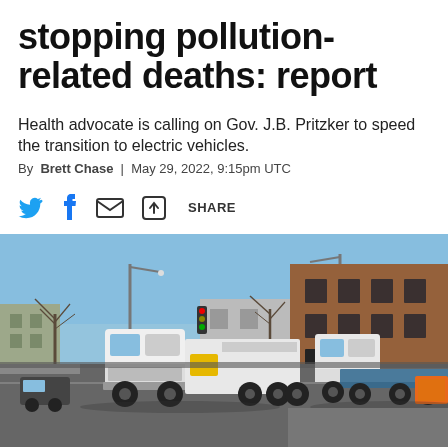stopping pollution-related deaths: report
Health advocate is calling on Gov. J.B. Pritzker to speed the transition to electric vehicles.
By Brett Chase | May 29, 2022, 9:15pm UTC
[Figure (other): Share bar with Twitter, Facebook, email, and share icons]
[Figure (photo): Street scene with heavy trucks including a white semi-truck with trailer and a flatbed truck driving along a city street with brick buildings and bare trees under a blue sky.]